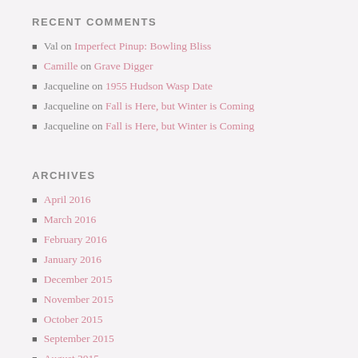RECENT COMMENTS
Val on Imperfect Pinup: Bowling Bliss
Camille on Grave Digger
Jacqueline on 1955 Hudson Wasp Date
Jacqueline on Fall is Here, but Winter is Coming
Jacqueline on Fall is Here, but Winter is Coming
ARCHIVES
April 2016
March 2016
February 2016
January 2016
December 2015
November 2015
October 2015
September 2015
August 2015
July 2015
June 2015
May 2015